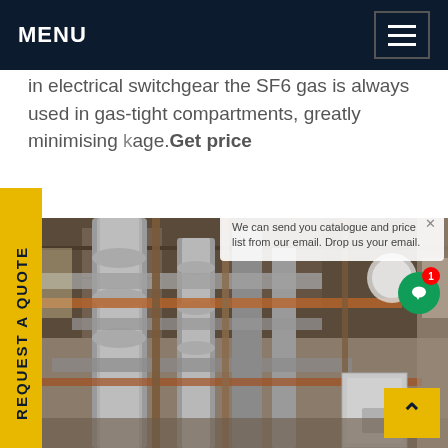MENU
in electrical switchgear the SF6 gas is always used in gas-tight compartments, greatly minimising kage.Get price
[Figure (photo): Industrial electrical switchgear facility showing large cylindrical gas-insulated equipment, pipes, and metal structures inside an industrial building]
REQUEST A QUOTE
We can send you catalogue and price list from our email. Drop us your email.